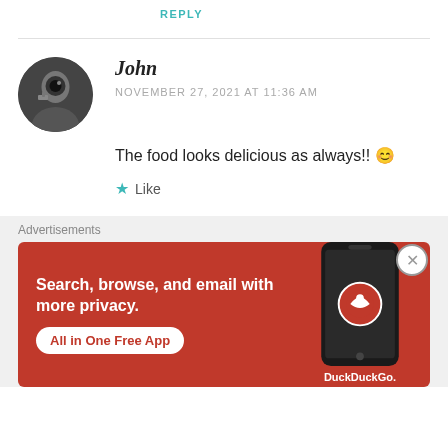REPLY
John
NOVEMBER 27, 2021 AT 11:36 AM
The food looks delicious as always!! 😊
Like
Advertisements
[Figure (screenshot): DuckDuckGo advertisement banner with orange/red background showing 'Search, browse, and email with more privacy. All in One Free App' with a phone mockup and DuckDuckGo logo]